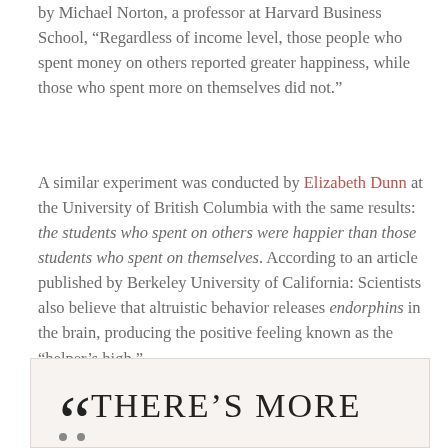by Michael Norton, a professor at Harvard Business School, “Regardless of income level, those people who spent money on others reported greater happiness, while those who spent more on themselves did not.”
A similar experiment was conducted by Elizabeth Dunn at the University of British Columbia with the same results: the students who spent on others were happier than those students who spent on themselves. According to an article published by Berkeley University of California: Scientists also believe that altruistic behavior releases endorphins in the brain, producing the positive feeling known as the “helper’s high.”
“There’s more Joy